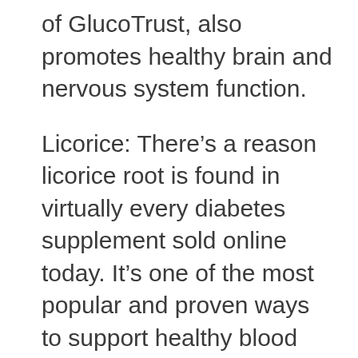of GlucoTrust, also promotes healthy brain and nervous system function.
Licorice: There's a reason licorice root is found in virtually every diabetes supplement sold online today. It's one of the most popular and proven ways to support healthy blood sugar in diabetics. It's also been used for centuries for that purpose. As one of the world's oldest herbal remedies, licorice root has been used for thousands of years in traditional Chinese, Middle Eastern, and Greek medicines. Today, it's known as a weight loss aid, appetite suppressant,